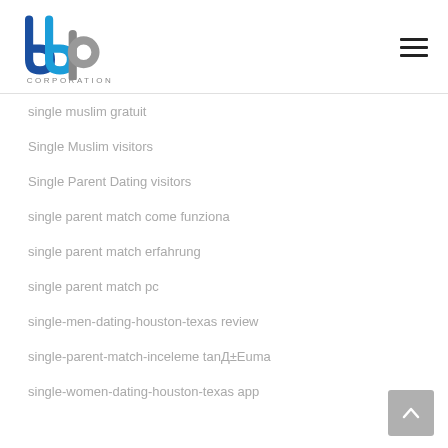[Figure (logo): BBP Corporation logo with stylized blue and gray lettering and the word CORPORATION below]
single muslim gratuit
Single Muslim visitors
Single Parent Dating visitors
single parent match come funziona
single parent match erfahrung
single parent match pc
single-men-dating-houston-texas review
single-parent-match-inceleme tanД±Еuma
single-women-dating-houston-texas app